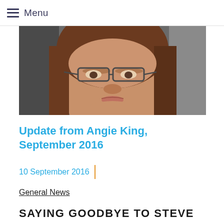Menu
[Figure (photo): Close-up portrait photo of a middle-aged woman with brown hair and glasses, taken outdoors.]
Update from Angie King, September 2016
10 September 2016
General News
SAYING GOODBYE TO STEVE